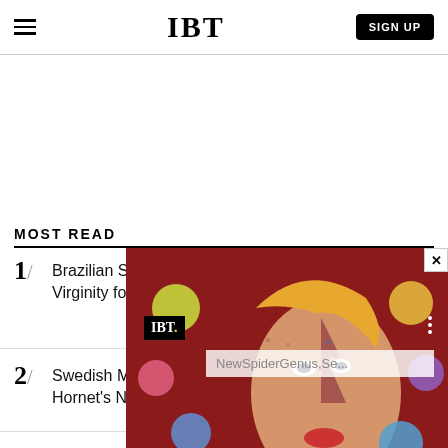IBT  SIGN UP
MOST READ
1/ Brazilian Student Catarina Migli… Virginity for £483,000
[Figure (photo): Overlay popup showing David Bowie mosaic portrait on red background, with IBT logo badge and NewSpiderGenus,Se... search bar, and close button X]
2/ Swedish Man 'Dies After Having Sex With Hornet's Nest'